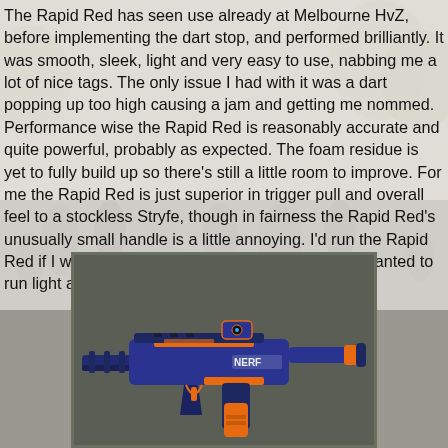The Rapid Red has seen use already at Melbourne HvZ, before implementing the dart stop, and performed brilliantly. It was smooth, sleek, light and very easy to use, nabbing me a lot of nice tags. The only issue I had with it was a dart popping up too high causing a jam and getting me nommed. Performance wise the Rapid Red is reasonably accurate and quite powerful, probably as expected. The foam residue is yet to fully build up so there's still a little room to improve. For me the Rapid Red is just superior in trigger pull and overall feel to a stockless Stryfe, though in fairness the Rapid Red's unusually small handle is a little annoying. I'd run the Rapid Red if I wanted to run a full Rebelle loadout, or if I wanted to run light and fast.
[Figure (photo): A blue and orange Nerf Rapid Red blaster photographed against a grey surface.]